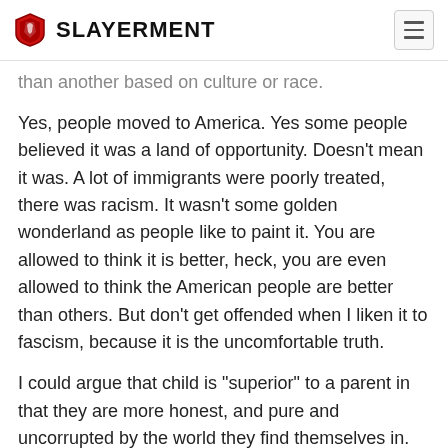Slayerment
than another based on culture or race.
Yes, people moved to America. Yes some people believed it was a land of opportunity. Doesn't mean it was. A lot of immigrants were poorly treated, there was racism. It wasn't some golden wonderland as people like to paint it. You are allowed to think it is better, heck, you are even allowed to think the American people are better than others. But don't get offended when I liken it to fascism, because it is the uncomfortable truth.
I could argue that child is "superior" to a parent in that they are more honest, and pure and uncorrupted by the world they find themselves in. Why would one suggest it's racist and sexist to call ANYONE a fool, based on their *age*. It's non-points like this that make your argument seem vacuous and